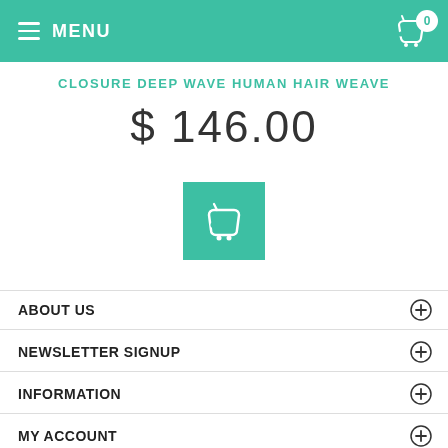MENU | Cart 0
CLOSURE DEEP WAVE HUMAN HAIR WEAVE
$ 146.00
[Figure (other): Add to cart button with basket icon, teal/green square]
ABOUT US
NEWSLETTER SIGNUP
INFORMATION
MY ACCOUNT